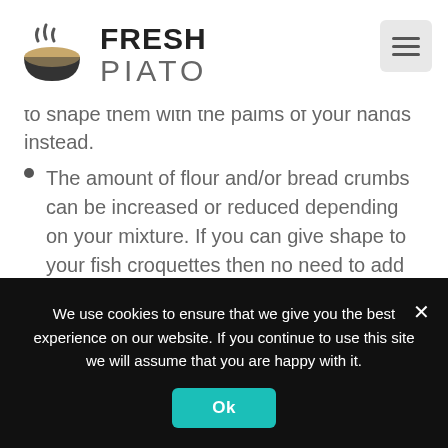FRESH PIATO
to shape them with the palms of your hands instead.
The amount of flour and/or bread crumbs can be increased or reduced depending on your mixture. If you can give shape to your fish croquettes then no need to add any more. If they crumble easily then you should add 1 Tbsp flour at a time.
After you add all the ingredients to a bowl and mix in
We use cookies to ensure that we give you the best experience on our website. If you continue to use this site we will assume that you are happy with it.